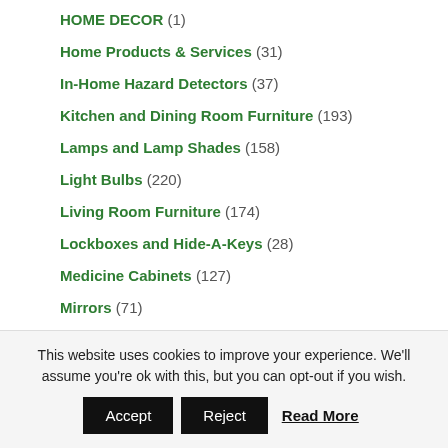HOME DECOR (1)
Home Products & Services (31)
In-Home Hazard Detectors (37)
Kitchen and Dining Room Furniture (193)
Lamps and Lamp Shades (158)
Light Bulbs (220)
Living Room Furniture (174)
Lockboxes and Hide-A-Keys (28)
Medicine Cabinets (127)
Mirrors (71)
This website uses cookies to improve your experience. We'll assume you're ok with this, but you can opt-out if you wish. Accept Reject Read More